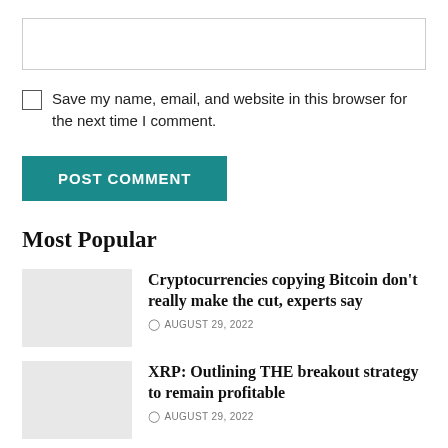[Figure (other): Empty text input box for comment form]
Save my name, email, and website in this browser for the next time I comment.
POST COMMENT
Most Popular
Cryptocurrencies copying Bitcoin don't really make the cut, experts say
AUGUST 29, 2022
XRP: Outlining THE breakout strategy to remain profitable
AUGUST 29, 2022
64% of American Parents Want Their Children